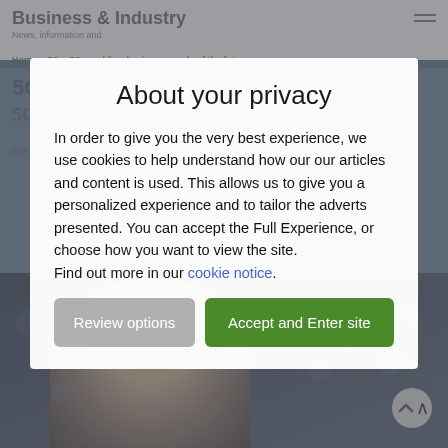Business & Industry
News, information and...
Home > 5G > 5G: enabling business needs of the future
About your privacy
In order to give you the very best experience, we use cookies to help understand how our our articles and content is used. This allows us to give you a personalized experience and to tailor the adverts presented. You can accept the Full Experience, or choose how you want to view the site.
Find out more in our cookie notice.
Review options
Accept and Enter site
[Figure (photo): Photo of a smiling woman, dark background with bokeh lights, website screenshot background]